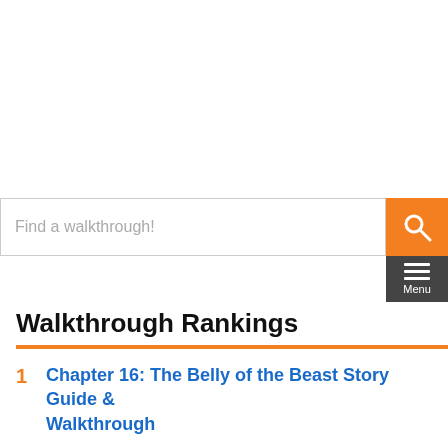[Figure (other): White empty advertisement/content placeholder area at the top of the page]
Find a walkthrough!
[Figure (other): Orange search button with magnifying glass icon]
[Figure (other): Dark grey hamburger menu button with 'Menu' label]
Walkthrough Rankings
1  Chapter 16: The Belly of the Beast Story Guide & Walkthrough
[Figure (other): Toyota advertisement banner showing cars with text SEARCH THE LARGEST SELECTION OF INVENTORY and SHOP TOYOTA button]
Course Should